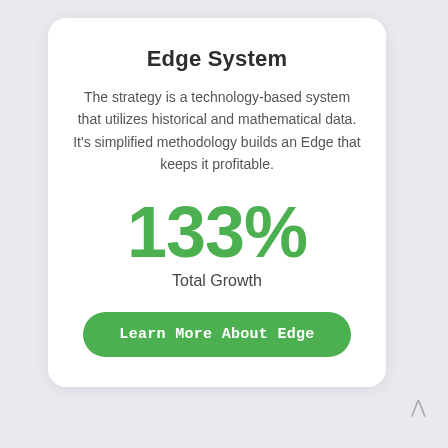Edge System
The strategy is a technology-based system that utilizes historical and mathematical data. It's simplified methodology builds an Edge that keeps it profitable.
133%
Total Growth
Learn More About Edge